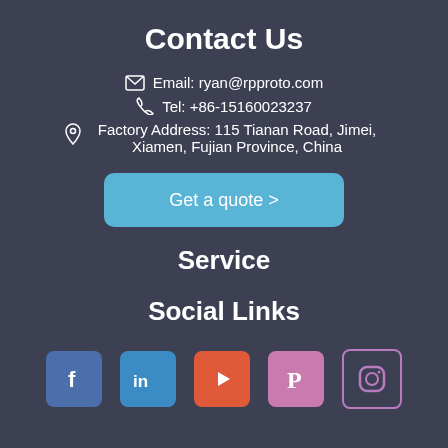Contact Us
Email: ryan@rpproto.com
Tel: +86-15160023237
Factory Address: 115 Tianan Road, Jimei, Xiamen, Fujian Province, China
Get a quote >
Service
Social Links
[Figure (infographic): Row of five social media icons: Facebook (blue), LinkedIn (blue), YouTube (orange-red), Pinterest (pink), Instagram (purple outline)]